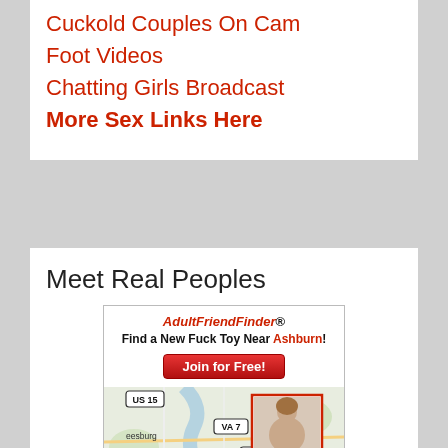Cuckold Couples On Cam
Foot Videos
Chatting Girls Broadcast
More Sex Links Here
Meet Real Peoples
[Figure (screenshot): AdultFriendFinder advertisement banner with map showing location near Ashburn, VA with road labels US 15, VA 7, VA 267 and a photo thumbnail of a person]